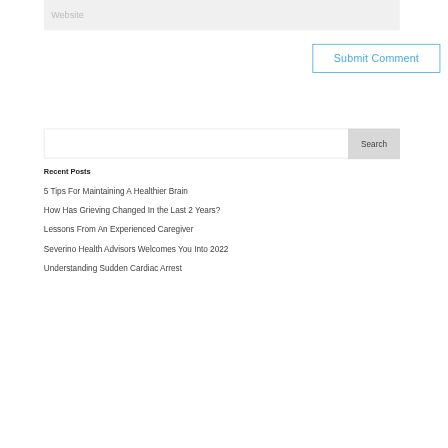Website
Submit Comment
Search
Recent Posts
5 Tips For Maintaining A Healthier Brain
How Has Grieving Changed In the Last 2 Years?
Lessons From An Experienced Caregiver
Severino Health Advisors Welcomes You Into 2022
Understanding Sudden Cardiac Arrest